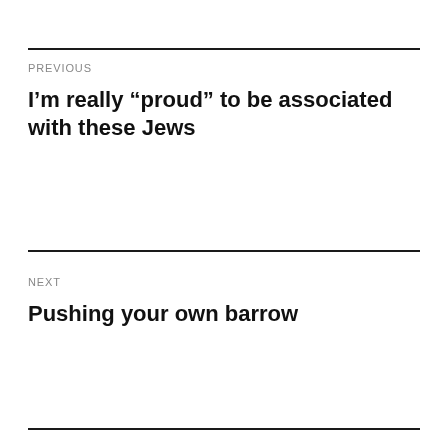PREVIOUS
I’m really “proud” to be associated with these Jews
NEXT
Pushing your own barrow